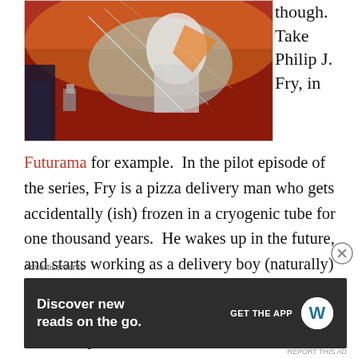[Figure (illustration): Animated illustration from Futurama showing a character in a stylized scene with orange, red, and teal colors]
though. Take Philip J. Fry, in
Futurama for example.  In the pilot episode of the series, Fry is a pizza delivery man who gets accidentally (ish) frozen in a cryogenic tube for one thousand years.  He wakes up in the future, and starts working as a delivery boy (naturally) at Planet Express, a delivery company owned as a side-business by Fry’s distant, distant, very distant nephew, Professor Hubert J. Farnsworth.  A quick side-note
Advertisements
[Figure (screenshot): Advertisement banner: Discover new reads on the go. GET THE APP with WordPress logo]